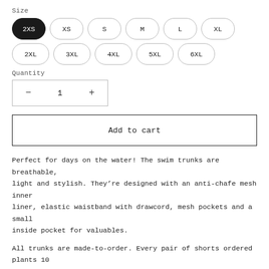Size
2XS XS S M L XL 2XL 3XL 4XL 5XL 6XL
Quantity
- 1 +
Add to cart
Perfect for days on the water! The swim trunks are breathable, light and stylish. They’re designed with an anti-chafe mesh inner liner, elastic waistband with drawcord, mesh pockets and a small inside pocket for valuables.
All trunks are made-to-order. Every pair of shorts ordered plants 10